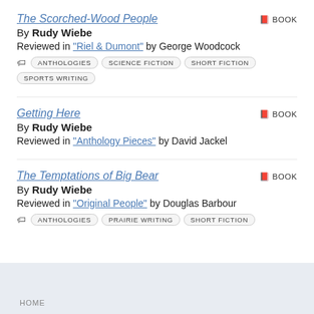The Scorched-Wood People
By Rudy Wiebe
Reviewed in "Riel & Dumont" by George Woodcock
ANTHOLOGIES  SCIENCE FICTION  SHORT FICTION  SPORTS WRITING
Getting Here
By Rudy Wiebe
Reviewed in "Anthology Pieces" by David Jackel
The Temptations of Big Bear
By Rudy Wiebe
Reviewed in "Original People" by Douglas Barbour
ANTHOLOGIES  PRAIRIE WRITING  SHORT FICTION
HOME